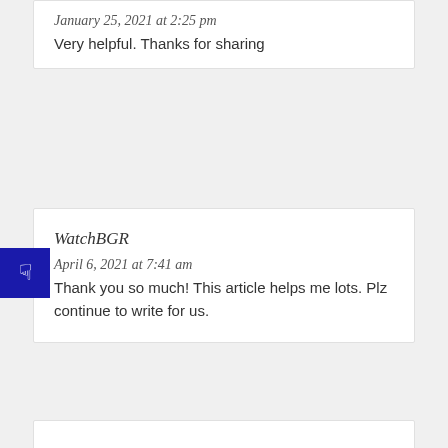January 25, 2021 at 2:25 pm
Very helpful. Thanks for sharing
WatchBGR
April 6, 2021 at 7:41 am
Thank you so much! This article helps me lots. Plz continue to write for us.
pawan
July 13, 2021 at 5:56 am
This is great post. Useful and beneficial for